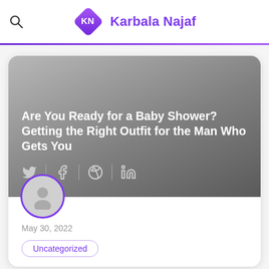Karbala Najaf
Are You Ready for a Baby Shower? Getting the Right Outfit for the Man Who Gets You
May 30, 2022
Uncategorized